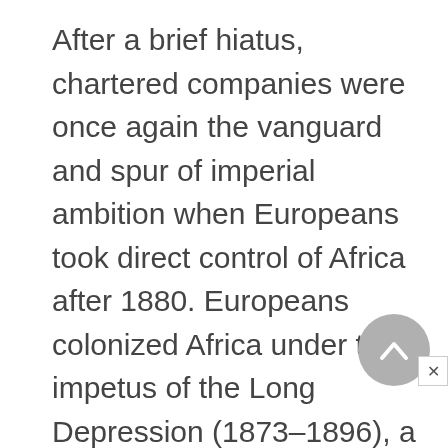After a brief hiatus, chartered companies were once again the vanguard and spur of imperial ambition when Europeans took direct control of Africa after 1880. Europeans colonized Africa under the impetus of the Long Depression (1873–1896), a world economic crisis that sparked the creation of monopolies and cartels and new colonial empires and monopoly trading relations in Africa as ways to stabilize the profitability of the new